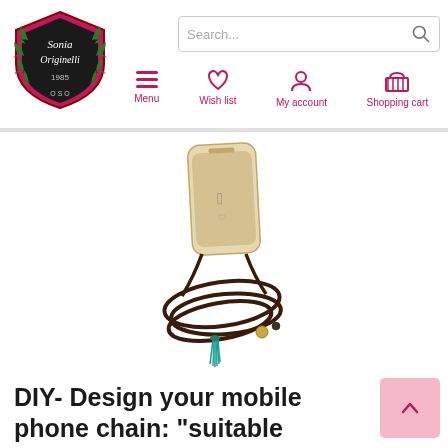[Figure (logo): Sonia Originelli shield logo with laurel wreath, est. 1985, in red/green/black]
[Figure (screenshot): Search bar input field with search icon]
[Figure (infographic): Navigation icons: Menu (hamburger), Wish list (heart), My account (person), Shopping cart (basket) in red/pink]
[Figure (photo): Product photo: transparent iPhone case with dark cord lanyard chain with teal tassel and small bead charms]
DIY- Design your mobile phone chain: "suitable for Iphone models" including